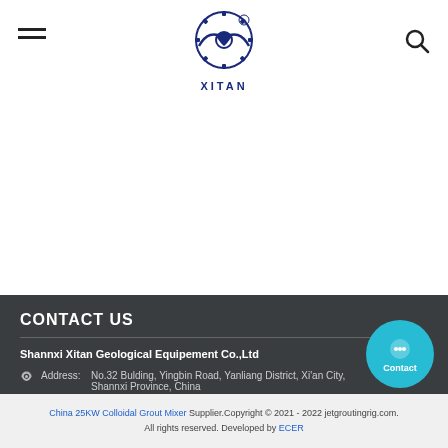[Figure (logo): XITAN company logo with eagle/gear emblem and text XITAN below]
CONTACT US
Shannxi Xitan Geological Equipement Co.,Ltd
Address: No.32 Bulding, Yingbin Road, Yanliang District, Xi'an City, Shannxi Province, China
E-Mail: info@jetgroutingrig.com
China 25KW Colloidal Grout Mixer Supplier.Copyright © 2021 - 2022 jetgroutingrig.com. All rights reserved. Developed by ECER